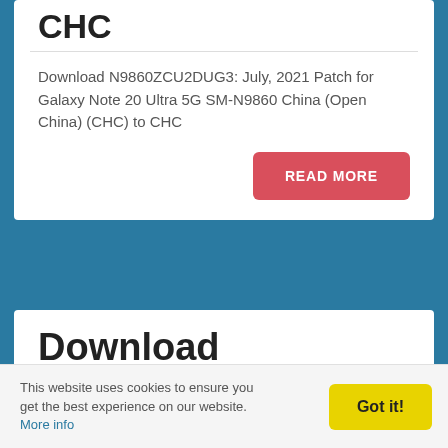CHC
Download N9860ZCU2DUG3: July, 2021 Patch for Galaxy Note 20 Ultra 5G SM-N9860 China (Open China) (CHC) to CHC
READ MORE
Download N9860ZSS2DUF 1: June 2021
This website uses cookies to ensure you get the best experience on our website. More info